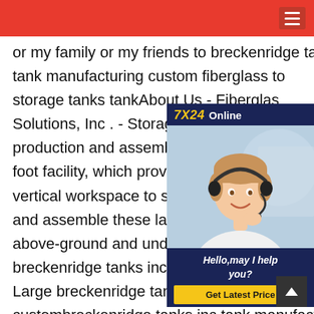Navigation bar with hamburger menu
or my family or my friends to breckenridge tanks inc tank manufacturing custom fiberglass to storage tanks tankAbout Us - Fiberglass Solutions, Inc . - Storage Tanks . Our FRE production and assembly is done within foot facility, which provides the needed vertical workspace to safely and efficie and assemble these large tank package above-ground and underground storage breckenridge tanks inc tank manufacturing custom Large breckenridge tanks inc tank manufacturing custombreckenridge tanks inc tank manufacturing custom Description mofcom.gov.cn Explosion-proof engineering, public safety, eight technical services the areas of expertise, the barrier to prevent the
[Figure (illustration): Chat widget with headset customer service representative photo, '7X24 Online' header in yellow and white on dark blue, and 'Hello,may I help you?' text with 'Get Latest Price' yellow button]